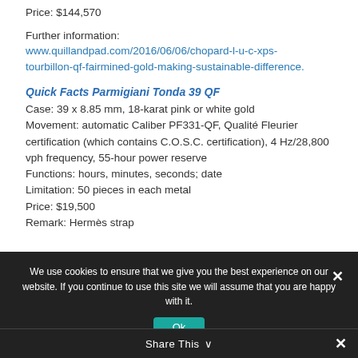Price: $144,570
Further information:
www.quillandpad.com/2016/06/06/chopard-l-u-c-xps-tourbillon-qf-fairmined-gold-making-sustainable-difference.
Quick Facts Parmigiani Tonda 39 QF
Case: 39 x 8.85 mm, 18-karat pink or white gold
Movement: automatic Caliber PF331-QF, Qualité Fleurier certification (which contains C.O.S.C. certification), 4 Hz/28,800 vph frequency, 55-hour power reserve
Functions: hours, minutes, seconds; date
Limitation: 50 pieces in each metal
Price: $19,500
Remark: Hermès strap
We use cookies to ensure that we give you the best experience on our website. If you continue to use this site we will assume that you are happy with it.
Share This